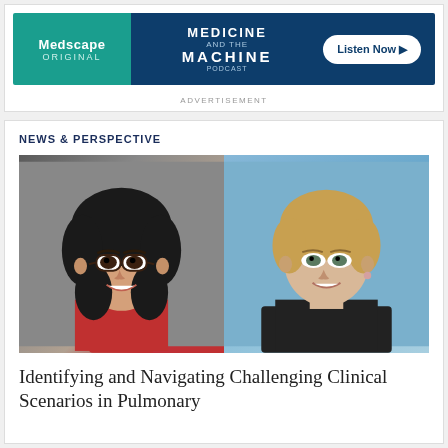[Figure (other): Medscape advertisement banner for 'Medicine and the Machine' podcast with 'Listen Now' button]
ADVERTISEMENT
NEWS & PERSPECTIVE
[Figure (photo): Two professional headshot photos side by side: left photo shows a woman with dark curly hair and glasses wearing a red top; right photo shows a woman with short blonde hair wearing a dark top against a blue background]
Identifying and Navigating Challenging Clinical Scenarios in Pulmonary Arterial Hypertension